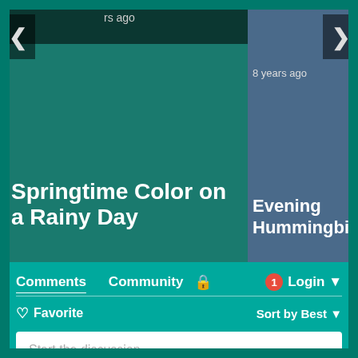[Figure (screenshot): Carousel showing two article cards: 'Springtime Color on a Rainy Day' (left, teal background) and 'Evening Hummingbird' (right, blue photo background) with navigation arrows]
Comments  Community  🔒  🔴1  Login ▾
♡ Favorite  Sort by Best ▾
Start the discussion...
LOG IN WITH
[Figure (logo): Social login icons: Disqus (D), Facebook (f), Twitter bird, Google (G)]
OR SIGN UP WITH DISQUS ?
Name